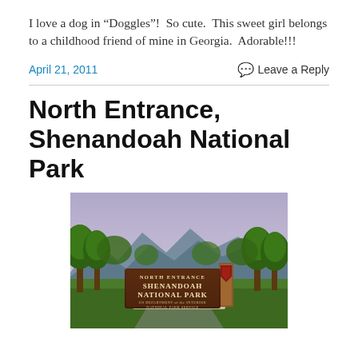I love a dog in “Doggles”!  So cute.  This sweet girl belongs to a childhood friend of mine in Georgia.  Adorable!!!
April 21, 2011    Leave a Reply
North Entrance, Shenandoah National Park
[Figure (illustration): Illustrated painting of the North Entrance sign to Shenandoah National Park, showing a wooden sign reading 'NORTH ENTRANCE SHENANDOAH NATIONAL PARK US DEPARTMENT of the INTERIOR NATIONAL PARK SERVICE' with trees and mountains in the background.]